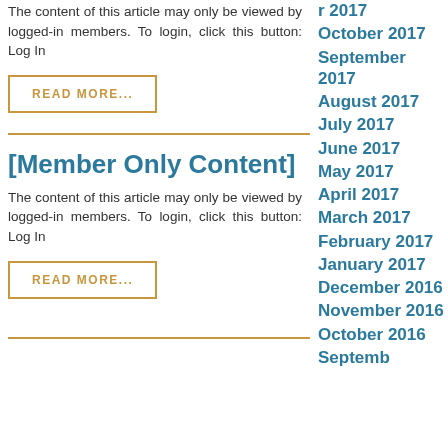The content of this article may only be viewed by logged-in members. To login, click this button: Log In
READ MORE...
[Member Only Content]
The content of this article may only be viewed by logged-in members. To login, click this button: Log In
READ MORE...
r 2017
October 2017
September 2017
August 2017
July 2017
June 2017
May 2017
April 2017
March 2017
February 2017
January 2017
December 2016
November 2016
October 2016
Septemb